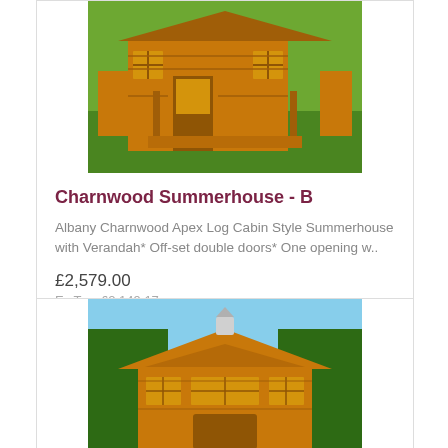[Figure (photo): Wooden summerhouse with verandah on green grass - Charnwood Summerhouse product photo]
Charnwood Summerhouse - B
Albany Charnwood Apex Log Cabin Style Summerhouse with Verandah* Off-set double doors* One opening w..
£2,579.00
Ex Tax: £2,149.17
[Figure (photo): Wooden log cabin style building with peaked roof - second product photo (partially visible)]